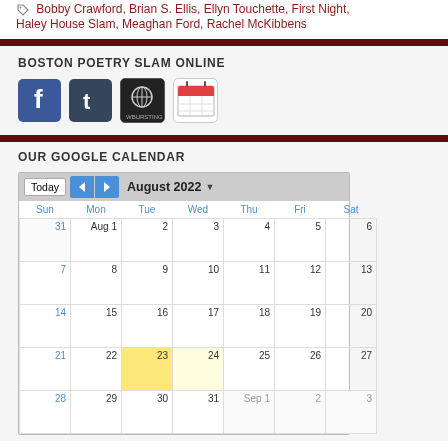Bobby Crawford, Brian S. Ellis, Ellyn Touchette, First Night, Haley House Slam, Meaghan Ford, Rachel McKibbens
BOSTON POETRY SLAM ONLINE
[Figure (infographic): Social media icons: Facebook (blue f), Tumblr (blue t), a globe/podcast icon, and a calendar icon]
OUR GOOGLE CALENDAR
[Figure (other): Google Calendar widget showing August 2022. Today button, back/forward navigation. Days of week Sun-Sat. Dates shown: 31, Aug 1, 2-6; 7-13; 14-20; 21-27 (23 highlighted in yellow); 28-31, Sep 1-3.]